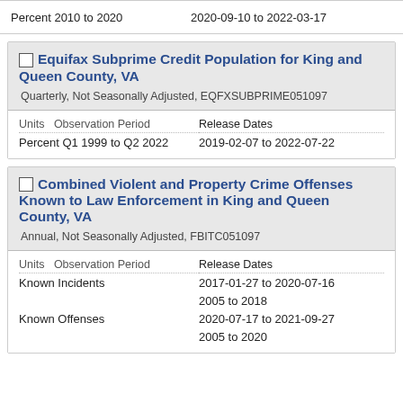| Units | Observation Period | Release Dates |
| --- | --- | --- |
| Percent 2010 to 2020 |  | 2020-09-10 to 2022-03-17 |
Equifax Subprime Credit Population for King and Queen County, VA
Quarterly, Not Seasonally Adjusted, EQFXSUBPRIME051097
| Units | Observation Period | Release Dates |
| --- | --- | --- |
| Percent Q1 1999 to Q2 2022 |  | 2019-02-07 to 2022-07-22 |
Combined Violent and Property Crime Offenses Known to Law Enforcement in King and Queen County, VA
Annual, Not Seasonally Adjusted, FBITC051097
| Units | Observation Period | Release Dates |
| --- | --- | --- |
| Known Incidents |  | 2017-01-27 to 2020-07-16 |
|  |  | 2005 to 2018 |
| Known Offenses |  | 2020-07-17 to 2021-09-27 |
|  |  | 2005 to 2020 |